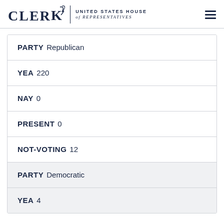CLERK UNITED STATES HOUSE of REPRESENTATIVES
| Field | Value |
| --- | --- |
| PARTY | Republican |
| YEA | 220 |
| NAY | 0 |
| PRESENT | 0 |
| NOT-VOTING | 12 |
| PARTY | Democratic |
| YEA | 4 |